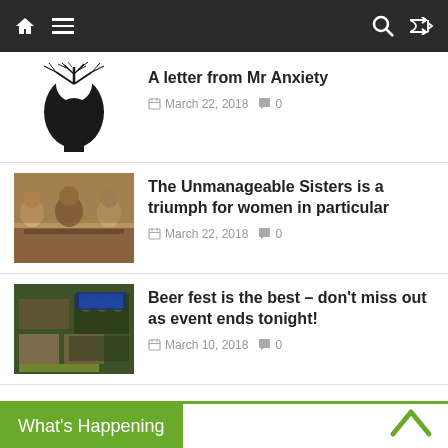Navigation bar with home, menu, search, and shuffle icons
A letter from Mr Anxiety — March 22, 2018 — 0 comments
The Unmanageable Sisters is a triumph for women in particular — March 22, 2018 — 0 comments
Beer fest is the best – don't miss out as event ends tonight! — March 10, 2018 — 0 comments
What's Happening